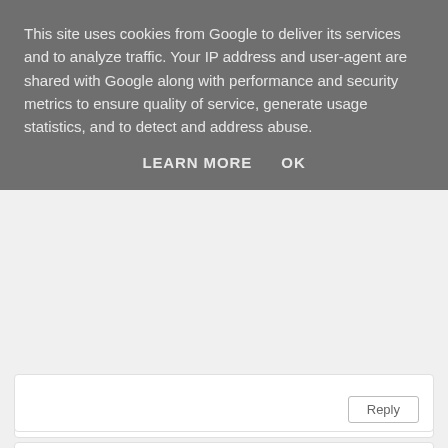This site uses cookies from Google to deliver its services and to analyze traffic. Your IP address and user-agent are shared with Google along with performance and security metrics to ensure quality of service, generate usage statistics, and to detect and address abuse.
LEARN MORE   OK
Donna caldwell
4 August 2018 at 17:12
My daughter loves Nutkin
Reply
cloud9